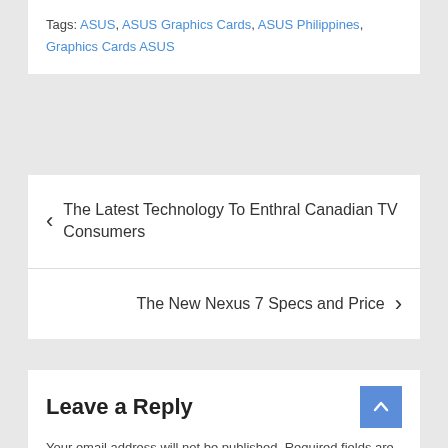Tags: ASUS, ASUS Graphics Cards, ASUS Philippines, Graphics Cards ASUS
< The Latest Technology To Enthral Canadian TV Consumers
The New Nexus 7 Specs and Price >
Leave a Reply
Your email address will not be published. Required fields are marked *